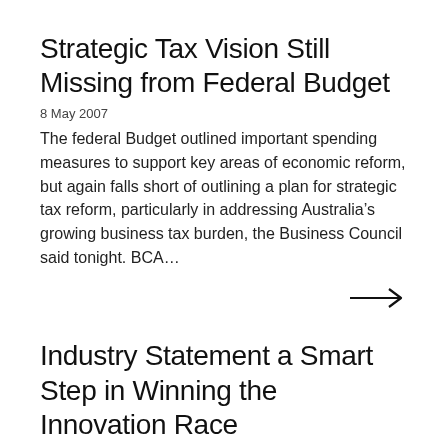Strategic Tax Vision Still Missing from Federal Budget
8 May 2007
The federal Budget outlined important spending measures to support key areas of economic reform, but again falls short of outlining a plan for strategic tax reform, particularly in addressing Australia’s growing business tax burden, the Business Council said tonight. BCA…
Industry Statement a Smart Step in Winning the Innovation Race